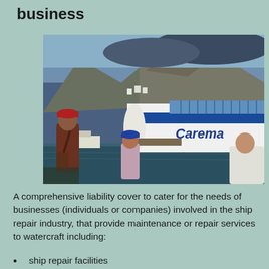business
[Figure (photo): A harbor scene with a large blue and white ferry ship branded 'Carema' docked at a port. Rocky mountains rise in the background. In the foreground, a man in a red cap and brown jacket stands on the left, and two people including one wearing a blue 'ITALIA' cap are in the center-right foreground. Smaller boats and waterfront buildings are visible.]
A comprehensive liability cover to cater for the needs of businesses (individuals or companies) involved in the ship repair industry, that provide maintenance or repair services to watercraft including:
ship repair facilities